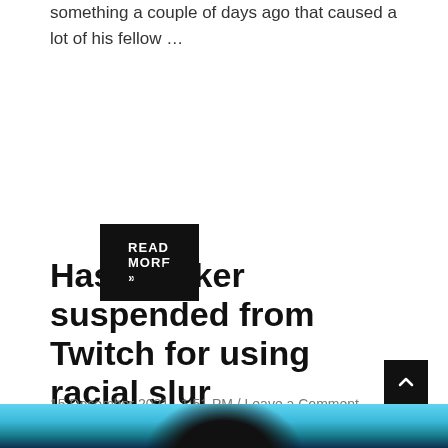something a couple of days ago that caused a lot of his fellow …
READ MORE »
Hasan Piker suspended from Twitch for using racial slur
15 December 2021  1:51 PM / Leave a Comment
[Figure (photo): Photo strip at bottom of page showing partial image of a person against a blue/teal background]